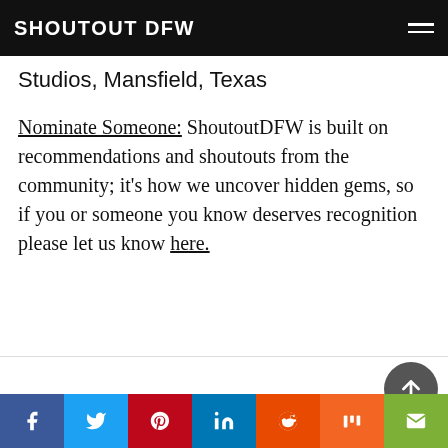SHOUTOUT DFW
Studios, Mansfield, Texas
Nominate Someone: ShoutoutDFW is built on recommendations and shoutouts from the community; it's how we uncover hidden gems, so if you or someone you know deserves recognition please let us know here.
You may also like
Social share bar: Facebook, Twitter, Pinterest, LinkedIn, Reddit, Mix, Email